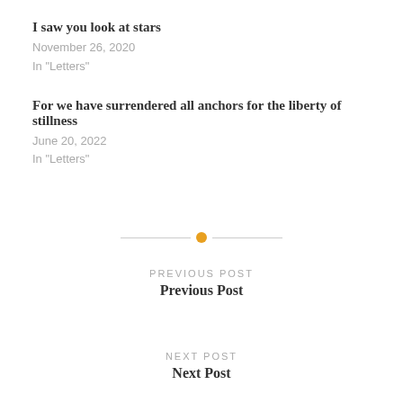I saw you look at stars
November 26, 2020
In "Letters"
For we have surrendered all anchors for the liberty of stillness
June 20, 2022
In "Letters"
[Figure (other): Horizontal divider with orange circle in the center]
PREVIOUS POST
Previous Post
NEXT POST
Next Post